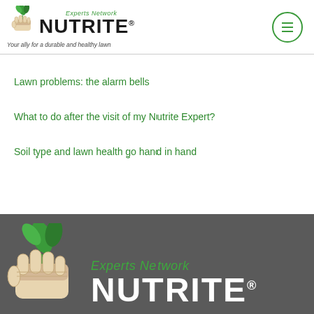[Figure (logo): Nutrite Experts Network logo with fist holding plant, tagline: Your ally for a durable and healthy lawn]
Lawn problems: the alarm bells
What to do after the visit of my Nutrite Expert?
Soil type and lawn health go hand in hand
[Figure (logo): Nutrite Experts Network footer logo on dark grey background with large white NUTRITE wordmark]